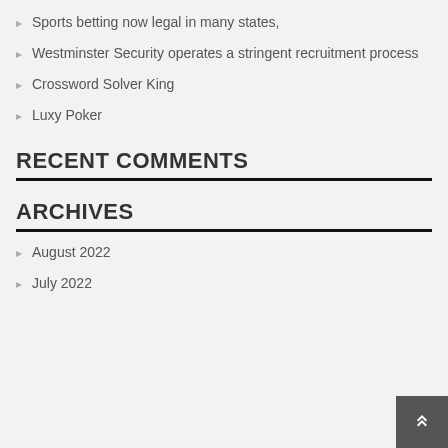Sports betting now legal in many states,
Westminster Security operates a stringent recruitment process
Crossword Solver King
Luxy Poker
RECENT COMMENTS
ARCHIVES
August 2022
July 2022